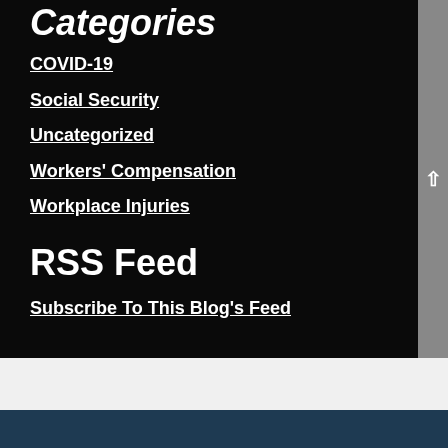Categories
COVID-19
Social Security
Uncategorized
Workers' Compensation
Workplace Injuries
RSS Feed
Subscribe To This Blog's Feed